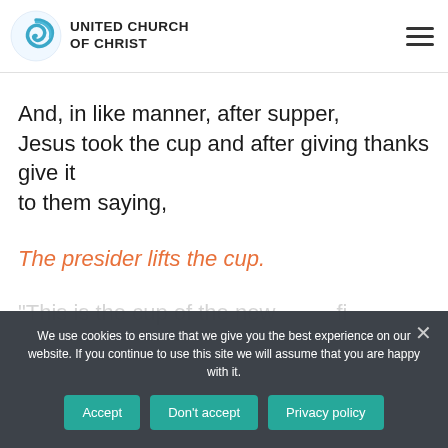UNITED CHURCH OF CHRIST
And, in like manner, after supper, Jesus took the cup and after giving thanks give it to them saying,
The presider lifts the cup.
"This is the cup of the new fi...
We use cookies to ensure that we give you the best experience on our website. If you continue to use this site we will assume that you are happy with it.
Accept | Don't accept | Privacy policy